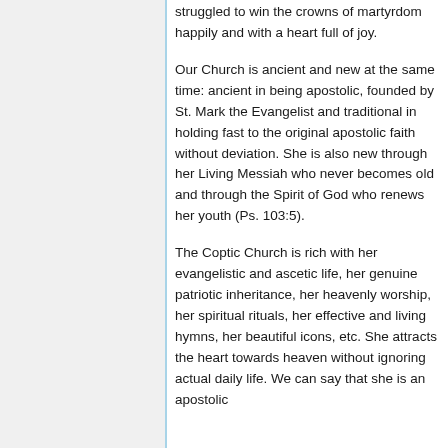struggled to win the crowns of martyrdom happily and with a heart full of joy.
Our Church is ancient and new at the same time: ancient in being apostolic, founded by St. Mark the Evangelist and traditional in holding fast to the original apostolic faith without deviation. She is also new through her Living Messiah who never becomes old and through the Spirit of God who renews her youth (Ps. 103:5).
The Coptic Church is rich with her evangelistic and ascetic life, her genuine patriotic inheritance, her heavenly worship, her spiritual rituals, her effective and living hymns, her beautiful icons, etc. She attracts the heart towards heaven without ignoring actual daily life. We can say that she is an apostolic